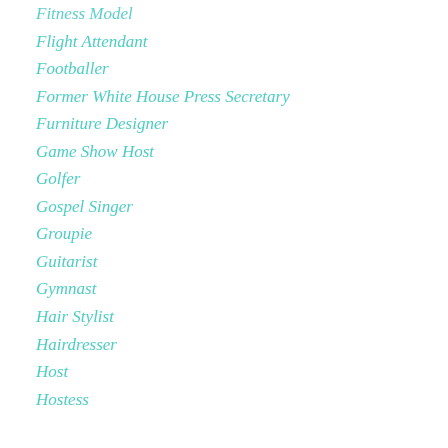Fitness Model
Flight Attendant
Footballer
Former White House Press Secretary
Furniture Designer
Game Show Host
Golfer
Gospel Singer
Groupie
Guitarist
Gymnast
Hair Stylist
Hairdresser
Host
Hostess